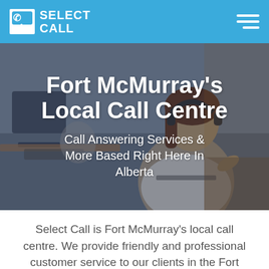SELECT CALL
Fort McMurray's Local Call Centre
Call Answering Services & More Based Right Here In Alberta
Select Call is Fort McMurray's local call centre. We provide friendly and professional customer service to our clients in the Fort McMurray area